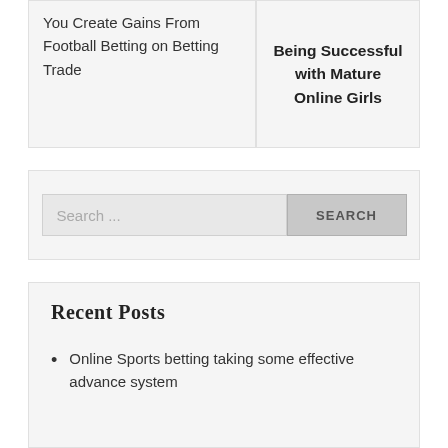You Create Gains From Football Betting on Betting Trade
Being Successful with Mature Online Girls
Search ...
Recent Posts
Online Sports betting taking some effective advance system